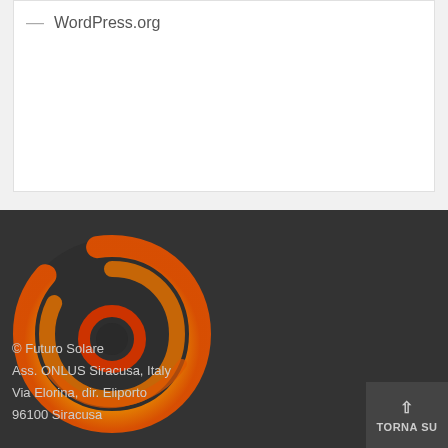— WordPress.org
[Figure (logo): Futuro Solare logo: a circular swirl in yellow, orange, and red gradient, with the text FUTURO SOLARE below in white stylized font, on a dark background]
© Futuro Solare
Ass. ONLUS Siracusa, Italy
Via Elorina, dir. Eliporto
96100 Siracusa
Sicilia, Italy